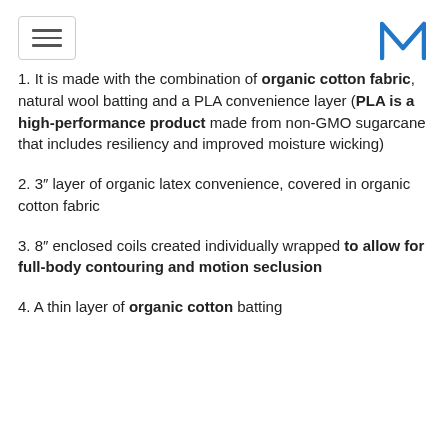Navigation menu and logo
1. It is made with the combination of organic cotton fabric, natural wool batting and a PLA convenience layer (PLA is a high-performance product made from non-GMO sugarcane that includes resiliency and improved moisture wicking)
2. 3″ layer of organic latex convenience, covered in organic cotton fabric
3. 8″ enclosed coils created individually wrapped to allow for full-body contouring and motion seclusion
4. A thin layer of organic cotton batting